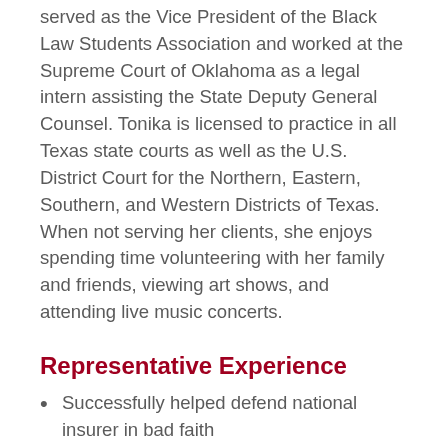served as the Vice President of the Black Law Students Association and worked at the Supreme Court of Oklahoma as a legal intern assisting the State Deputy General Counsel. Tonika is licensed to practice in all Texas state courts as well as the U.S. District Court for the Northern, Eastern, Southern, and Western Districts of Texas. When not serving her clients, she enjoys spending time volunteering with her family and friends, viewing art shows, and attending live music concerts.
Representative Experience
Successfully helped defend national insurer in bad faith